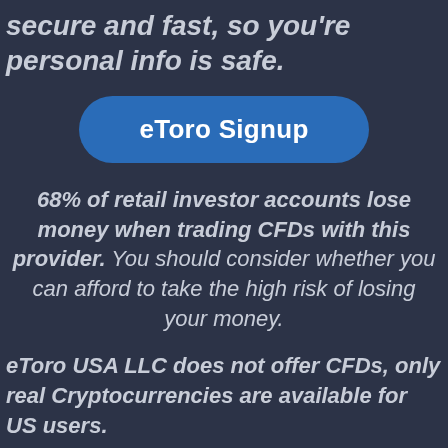secure and fast, so you're personal info is safe.
[Figure (other): eToro Signup button — blue rounded rectangle with white bold text]
68% of retail investor accounts lose money when trading CFDs with this provider. You should consider whether you can afford to take the high risk of losing your money.
eToro USA LLC does not offer CFDs, only real Cryptocurrencies are available for US users.